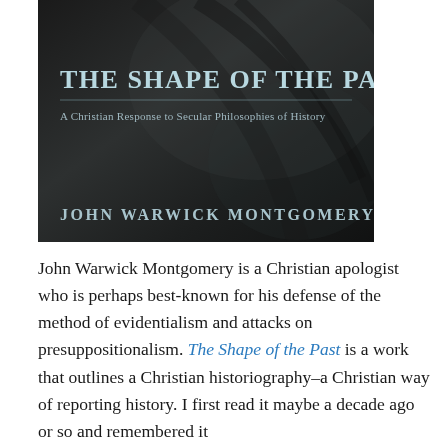[Figure (illustration): Book cover of 'The Shape of the Past: A Christian Response to Secular Philosophies of History' by John Warwick Montgomery. Dark textured background with light-colored serif title text at top and author name at bottom.]
John Warwick Montgomery is a Christian apologist who is perhaps best-known for his defense of the method of evidentialism and attacks on presuppositionalism. The Shape of the Past is a work that outlines a Christian historiography–a Christian way of reporting history. I first read it maybe a decade ago or so and remembered it